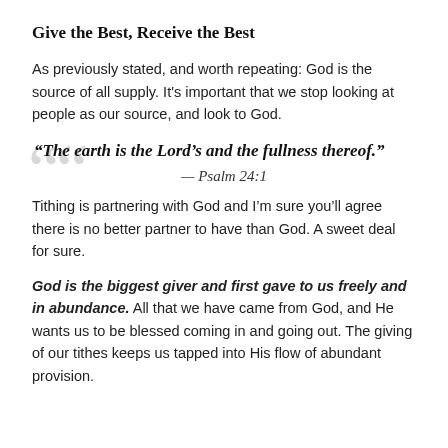Give the Best, Receive the Best
As previously stated, and worth repeating: God is the source of all supply. It’s important that we stop looking at people as our source, and look to God.
“The earth is the Lord’s and the fullness thereof.” — Psalm 24:1
Tithing is partnering with God and I’m sure you’ll agree there is no better partner to have than God. A sweet deal for sure.
God is the biggest giver and first gave to us freely and in abundance. All that we have came from God, and He wants us to be blessed coming in and going out. The giving of our tithes keeps us tapped into His flow of abundant provision.